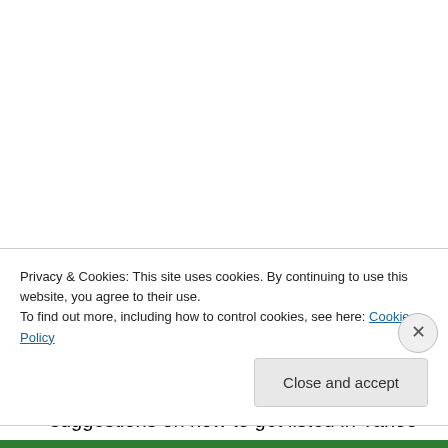[Figure (illustration): Teal geometric snowflake/mandala avatar icon]
fvghfyfgguy@gmail.com on 11/29/2014 at 1:59 PM
Sweet blog! I found it while surfing around on Yahoo News. Do you have any suggestions on how to get listed in Yahoo News? I've been trying for a while but I never seem to get there! Appreciate it
Privacy & Cookies: This site uses cookies. By continuing to use this website, you agree to their use.
To find out more, including how to control cookies, see here: Cookie Policy
Close and accept